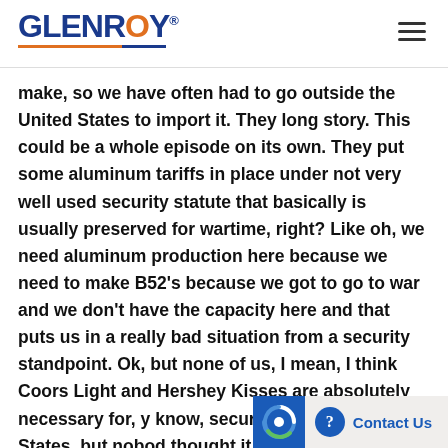GLENROY®
make, so we have often had to go outside the United States to import it. They long story. This could be a whole episode on its own. They put some aluminum tariffs in place under not very well used security statute that basically is usually preserved for wartime, right? Like oh, we need aluminum production here because we need to make B52's because we got to go to war and we don't have the capacity here and that puts us in a really bad situation from a security standpoint. Ok, but none of us, I mean, I think Coors Light and Hershey Kisses are absolutely necessary for, you know, security of the United States, but nobody thought it would extend down to th…